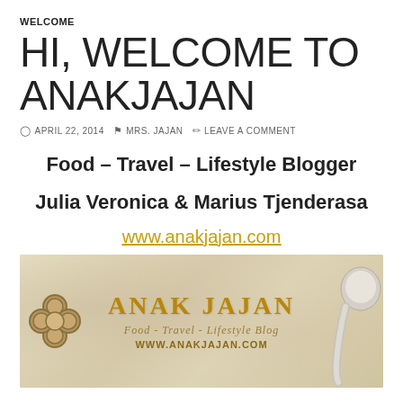WELCOME
HI, WELCOME TO ANAKJAJAN
APRIL 22, 2014  MRS. JAJAN  LEAVE A COMMENT
Food – Travel – Lifestyle Blogger
Julia Veronica & Marius Tjenderasa
www.anakjajan.com
[Figure (logo): Anak Jajan blog banner with golden text 'ANAK JAJAN', subtitle 'Food - Travel - Lifestyle Blog', URL 'WWW.ANAKJAJAN.COM', decorative knot on the left, spoon on the right, on a textured beige background]